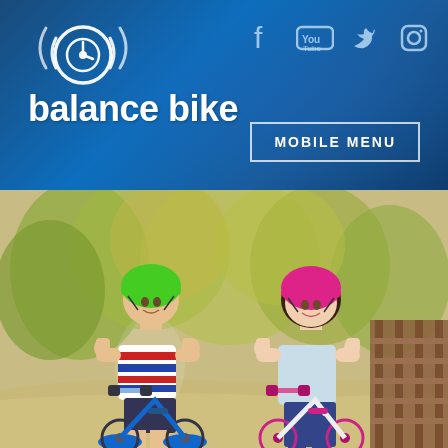[Figure (logo): Balance Bike logo with circular icon and sound wave rings, white text on blue gradient background, social media icons (Facebook, YouTube, Twitter, Instagram) in top right, MOBILE MENU button]
[Figure (photo): Two young children riding balance bikes on an outdoor path near a wooden bridge. Left child wears green helmet and striped shirt on a blue bike. Right child wears pink helmet and blue top on a pink/white bike. Both giving thumbs up. Autumn foliage background.]